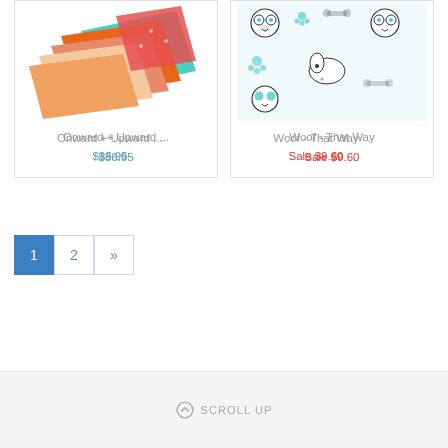[Figure (photo): Stack of colorful fabric swatches in orange, coral, peach, yellow, and teal tones on white background]
Onward + Upward ...
$36.95
[Figure (photo): Fabric with dog-themed pattern featuring illustrated dogs, paw prints, and bones in teal and black on white background]
Woof - That Way
Sale $9.60
1 2 »
⊕ SCROLL UP